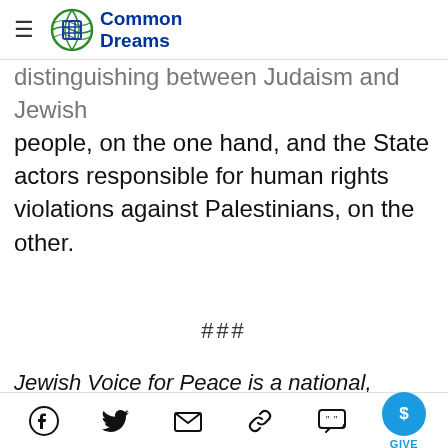Common Dreams
distinguishing between Judaism and Jewish people, on the one hand, and the State actors responsible for human rights violations against Palestinians, on the other.
###
Jewish Voice for Peace is a national, grassroots organization inspired by Jewish tradition to
Social share icons: Facebook, Twitter, Email, Link, Quote, Give